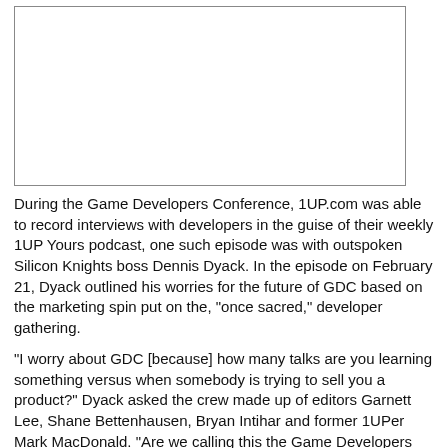[Figure (other): Empty white image placeholder with a thin border, likely a screenshot or photo of GDC content]
During the Game Developers Conference, 1UP.com was able to record interviews with developers in the guise of their weekly 1UP Yours podcast, one such episode was with outspoken Silicon Knights boss Dennis Dyack. In the episode on February 21, Dyack outlined his worries for the future of GDC based on the marketing spin put on the, "once sacred," developer gathering.
"I worry about GDC [because] how many talks are you learning something versus when somebody is trying to sell you a product?" Dyack asked the crew made up of editors Garnett Lee, Shane Bettenhausen, Bryan Intihar and former 1UPer Mark MacDonald. "Are we calling this the Game Developers Conference [or] are we calling it the Game Demo Convention?"
Continue reading GDC08: Dennis Dyack is worried about GDC